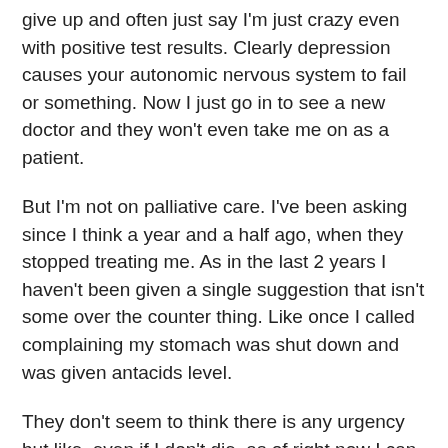give up and often just say I'm just crazy even with positive test results. Clearly depression causes your autonomic nervous system to fail or something. Now I just go in to see a new doctor and they won't even take me on as a patient.
But I'm not on palliative care. I've been asking since I think a year and a half ago, when they stopped treating me. As in the last 2 years I haven't been given a single suggestion that isn't some over the counter thing. Like once I called complaining my stomach was shut down and was given antacids level.
They don't seem to think there is any urgency but like, even if I don't die, as of right now I can leave the house maybe 2 days a week because